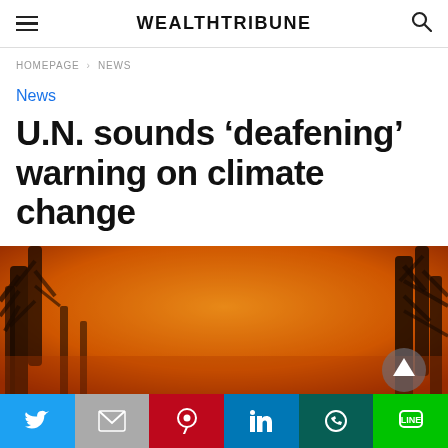WEALTHTRIBUNE
HOMEPAGE > NEWS
News
U.N. sounds 'deafening' warning on climate change
[Figure (photo): Orange-red smoky sky with silhouetted trees, suggesting wildfire or severe climate event]
[Figure (infographic): Social share bar with Twitter, Gmail, Pinterest, LinkedIn, WhatsApp, and LINE buttons]